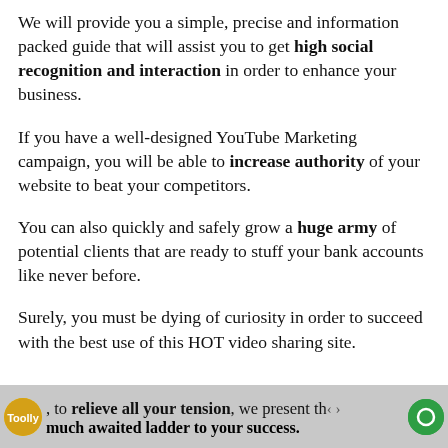We will provide you a simple, precise and information packed guide that will assist you to get high social recognition and interaction in order to enhance your business.
If you have a well-designed YouTube Marketing campaign, you will be able to increase authority of your website to beat your competitors.
You can also quickly and safely grow a huge army of potential clients that are ready to stuff your bank accounts like never before.
Surely, you must be dying of curiosity in order to succeed with the best use of this HOT video sharing site.
, to relieve all your tension, we present the much awaited ladder to your success.